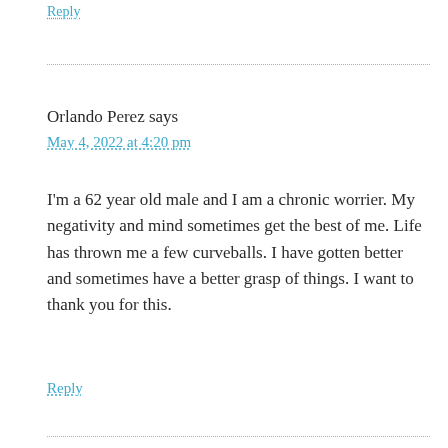Reply
Orlando Perez says
May 4, 2022 at 4:20 pm
I'm a 62 year old male and I am a chronic worrier. My negativity and mind sometimes get the best of me. Life has thrown me a few curveballs. I have gotten better and sometimes have a better grasp of things. I want to thank you for this.
Reply